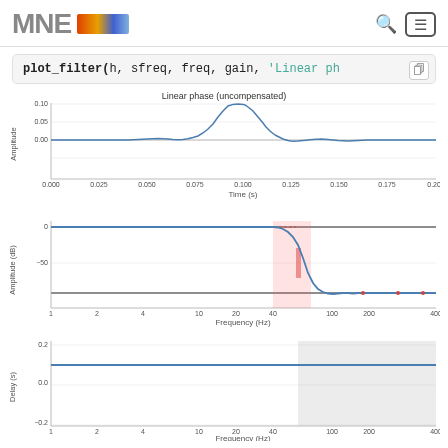MNE - plot_filter(h, sfreq, freq, gain, 'Linear phase...
plot_filter(h, sfreq, freq, gain, 'Linear phase...
[Figure (line-chart): Impulse response showing a sinc-like pulse peaking near t=0.100s with amplitude ~0.10]
[Figure (continuous-plot): Frequency response on log-x scale from 1 to 400 Hz, flat at 0 dB then rolling off steeply near 60 Hz to below -75 dB, with pink shaded transition band region]
[Figure (continuous-plot): Group delay flat at ~0.1s from 1 to ~60 Hz, with gray shaded region beyond ~60 Hz]